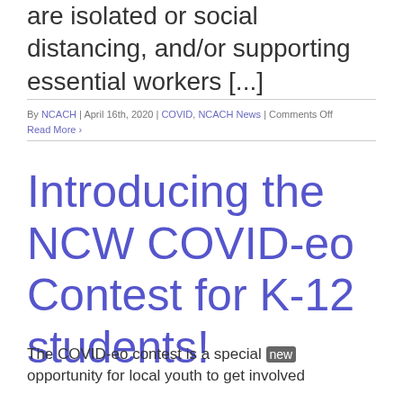are isolated or social distancing, and/or supporting essential workers [...]
By NCACH | April 16th, 2020 | COVID, NCACH News | Comments Off
Read More
Introducing the NCW COVID-eo Contest for K-12 students!
The COVID-eo contest is a special new opportunity for local youth to get involved